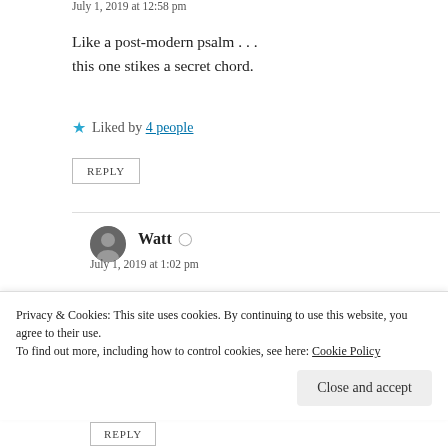July 1, 2019 at 12:58 pm
Like a post-modern psalm . . .
this one stikes a secret chord.
Liked by 4 people
REPLY
Watt
July 1, 2019 at 1:02 pm
Now, hear me out. I don't mean to be greedy, but I really
REPLY
Privacy & Cookies: This site uses cookies. By continuing to use this website, you agree to their use.
To find out more, including how to control cookies, see here: Cookie Policy
Close and accept